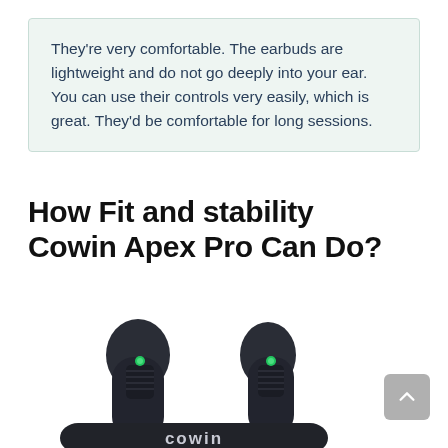They're very comfortable. The earbuds are lightweight and do not go deeply into your ear. You can use their controls very easily, which is great. They'd be comfortable for long sessions.
How Fit and stability Cowin Apex Pro Can Do?
[Figure (photo): Two Cowin Apex Pro wireless earbuds shown side by side, dark navy/black color with green LED indicators, and the bottom of a charging case showing the Cowin logo]